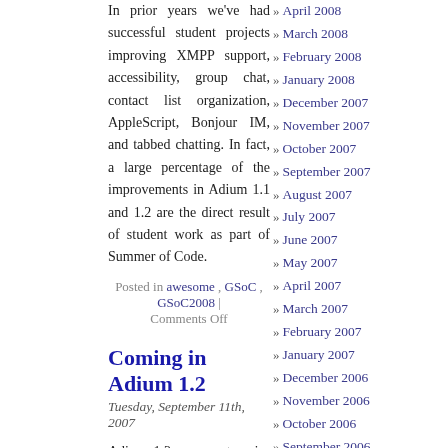In prior years we've had successful student projects improving XMPP support, accessibility, group chat, contact list organization, AppleScript, Bonjour IM, and tabbed chatting. In fact, a large percentage of the improvements in Adium 1.1 and 1.2 are the direct result of student work as part of Summer of Code.
Posted in awesome, GSoC, GSoC2008 | Comments Off
Coming in Adium 1.2
Tuesday, September 11th, 2007
Adium 1.2, our next major goal, is going to be a crazy awesome release. In the last two days we've finished the initial merges of our Google Summer of Code 2007students' efforts; it'll be some time and effort before the development trunk of Adium is stable and close to a release with all these incoming changes, but it'll be well worth it. The Summer of Code was a huge success:
» Andy Monitzer made many improvements to libnurple's XMPP/Jabber support
» April 2008
» March 2008
» February 2008
» January 2008
» December 2007
» November 2007
» October 2007
» September 2007
» August 2007
» July 2007
» June 2007
» May 2007
» April 2007
» March 2007
» February 2007
» January 2007
» December 2006
» November 2006
» October 2006
» September 2006
» August 2006
» July 2006
» June 2006
» May 2006
» April 2006
» March 2006
» February 2006